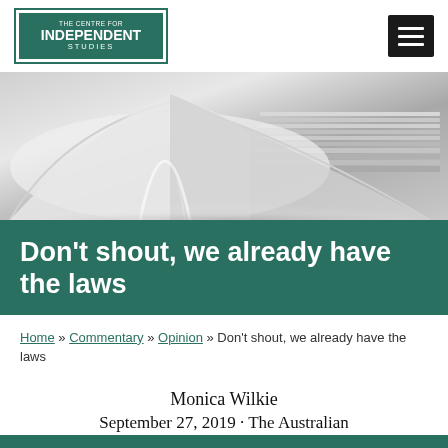[Figure (logo): The Centre for Independent Studies logo — teal bordered box with white text]
[Figure (photo): Black and white close-up photograph of open magazines or books stacked together]
Don't shout, we already have the laws
Home » Commentary » Opinion » Don't shout, we already have the laws
Monica Wilkie
September 27, 2019 · The Australian